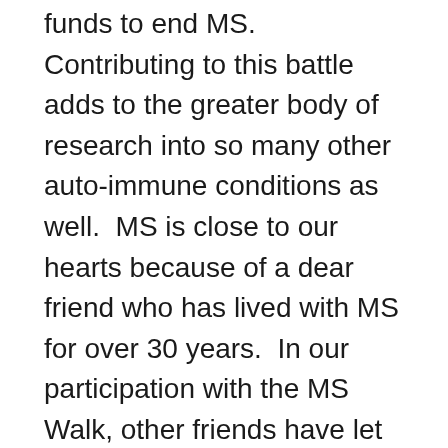funds to end MS.  Contributing to this battle adds to the greater body of research into so many other auto-immune conditions as well.  MS is close to our hearts because of a dear friend who has lived with MS for over 30 years.  In our participation with the MS Walk, other friends have let us know that they, too, live with this unpredictable and dangerous disease.  The progress research has made is so encouraging.  We thank you for being part of the cure by your generous donations through the years!